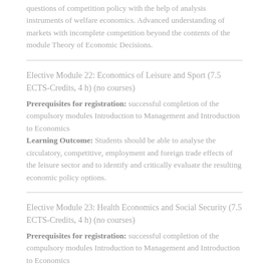questions of competition policy with the help of analysis instruments of welfare economics. Advanced understanding of markets with incomplete competition beyond the contents of the module Theory of Economic Decisions.
Elective Module 22: Economics of Leisure and Sport (7.5 ECTS-Credits, 4 h) (no courses)
Prerequisites for registration: successful completion of the compulsory modules Introduction to Management and Introduction to Economics
Learning Outcome: Students should be able to analyse the circulatory, competitive, employment and foreign trade effects of the leisure sector and to identify and critically evaluate the resulting economic policy options.
Elective Module 23: Health Economics and Social Security (7.5 ECTS-Credits, 4 h) (no courses)
Prerequisites for registration: successful completion of the compulsory modules Introduction to Management and Introduction to Economics